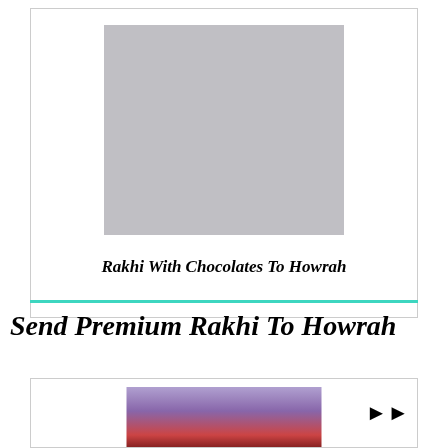[Figure (photo): Gray placeholder image for Rakhi With Chocolates To Howrah product]
Rakhi With Chocolates To Howrah
Send Premium Rakhi To Howrah
[Figure (photo): Partially visible product image with purple and red tones at the bottom of the page]